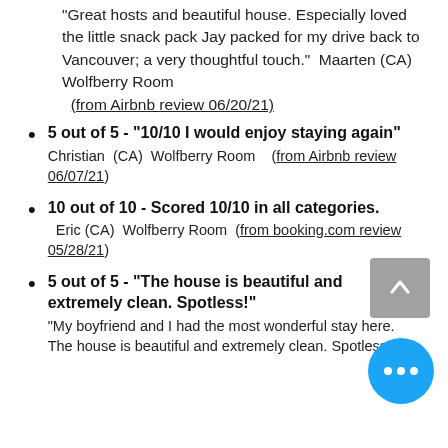"Great hosts and beautiful house. Especially loved the little snack pack Jay packed for my drive back to Vancouver; a very thoughtful touch." Maarten (CA) Wolfberry Room (from Airbnb review 06/20/21)
5 out of 5 - "10/10 I would enjoy staying again" Christian (CA) Wolfberry Room (from Airbnb review 06/07/21)
10 out of 10 - Scored 10/10 in all categories. Eric (CA) Wolfberry Room (from booking.com review 05/28/21)
5 out of 5 - "The house is beautiful and extremely clean. Spotless!" "My boyfriend and I had the most wonderful stay here. The house is beautiful and extremely clean. Spotless!